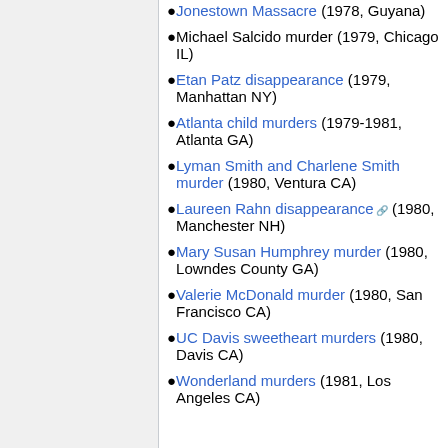Jonestown Massacre (1978, Guyana)
Michael Salcido murder (1979, Chicago IL)
Etan Patz disappearance (1979, Manhattan NY)
Atlanta child murders (1979-1981, Atlanta GA)
Lyman Smith and Charlene Smith murder (1980, Ventura CA)
Laureen Rahn disappearance (1980, Manchester NH)
Mary Susan Humphrey murder (1980, Lowndes County GA)
Valerie McDonald murder (1980, San Francisco CA)
UC Davis sweetheart murders (1980, Davis CA)
Wonderland murders (1981, Los Angeles CA)